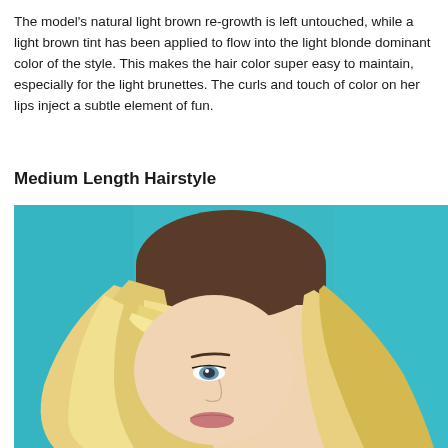The model's natural light brown re-growth is left untouched, while a light brown tint has been applied to flow into the light blonde dominant color of the style. This makes the hair color super easy to maintain, especially for the light brunettes. The curls and touch of color on her lips inject a subtle element of fun.
Medium Length Hairstyle
[Figure (photo): Close-up photo of a blonde woman with medium length hair against a teal/turquoise background. Her hair shows dark roots blending into light blonde, with some hair sweeping across her face partially covering one eye.]